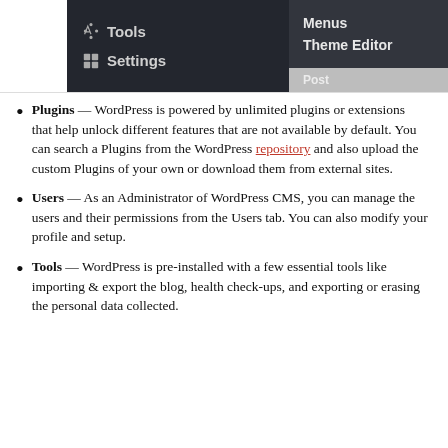[Figure (screenshot): WordPress admin menu screenshot showing Tools and Settings menu items on the left dark panel, and Menus and Theme Editor submenu items on the right dark panel]
Plugins — WordPress is powered by unlimited plugins or extensions that help unlock different features that are not available by default. You can search a Plugins from the WordPress repository and also upload the custom Plugins of your own or download them from external sites.
Users — As an Administrator of WordPress CMS, you can manage the users and their permissions from the Users tab. You can also modify your profile and setup.
Tools — WordPress is pre-installed with a few essential tools like importing & export the blog, health check-ups, and exporting or erasing the personal data collected.